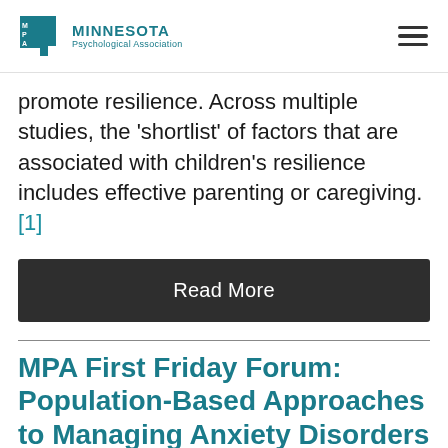MINNESOTA Psychological Association
promote resilience. Across multiple studies, the 'shortlist' of factors that are associated with children's resilience includes effective parenting or caregiving. [1]
Read More
MPA First Friday Forum: Population-Based Approaches to Managing Anxiety Disorders